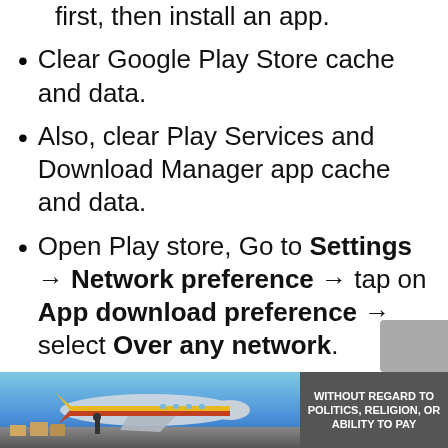first, then install an app.
Clear Google Play Store cache and data.
Also, clear Play Services and Download Manager app cache and data.
Open Play store, Go to Settings → Network preference → tap on App download preference → select Over any network.
Uninstall Play Store updates and again reinstall it.
Make sure your phone has enough storage left to install the app.
[Figure (photo): Advertisement banner showing cargo airplane being loaded, with text overlay 'WITHOUT REGARD TO POLITICS, RELIGION, OR ABILITY TO PAY']